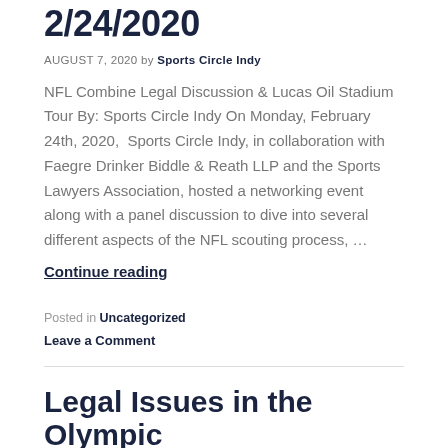2/24/2020
AUGUST 7, 2020 by Sports Circle Indy
NFL Combine Legal Discussion & Lucas Oil Stadium Tour By: Sports Circle Indy On Monday, February 24th, 2020,  Sports Circle Indy, in collaboration with Faegre Drinker Biddle & Reath LLP and the Sports Lawyers Association, hosted a networking event along with a panel discussion to dive into several different aspects of the NFL scouting process, …
Continue reading
Posted in Uncategorized
Leave a Comment
Legal Issues in the Olympic Movement 12/30/2019